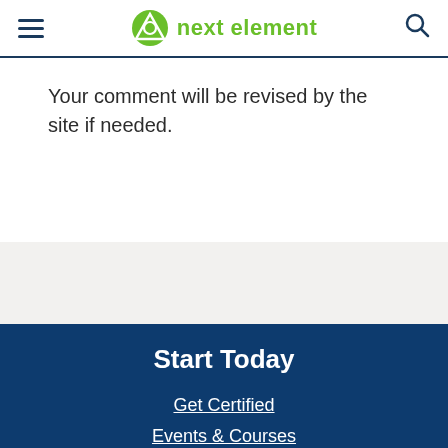next element
Your comment will be revised by the site if needed.
Start Today
Get Certified
Events & Courses
Contact Us